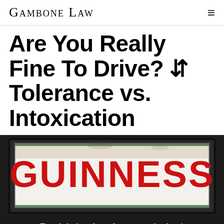Gambone Law
Are You Really Fine To Drive? ⚓ Tolerance vs. Intoxication
[Figure (photo): Close-up photo of a framed vintage Guinness sign with red lettering on a white background, set in a dark weathered frame with rust marks]
Touch below for a free consultation.*
CALL  TEXT  EMAIL